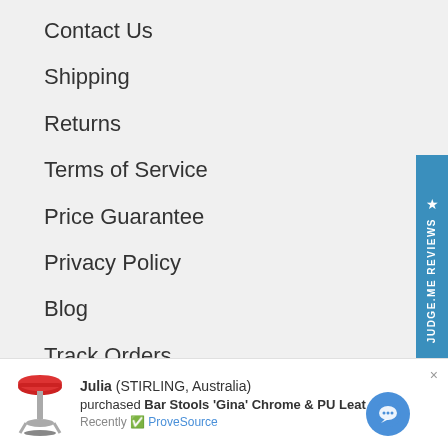Contact Us
Shipping
Returns
Terms of Service
Price Guarantee
Privacy Policy
Blog
Track Orders
FAQ
Zip
[Figure (screenshot): Judge.me Reviews vertical sidebar button in steel blue]
Julia (STIRLING, Australia) purchased Bar Stools 'Gina' Chrome & PU Leather x 2 - Re... Recently ProveSource